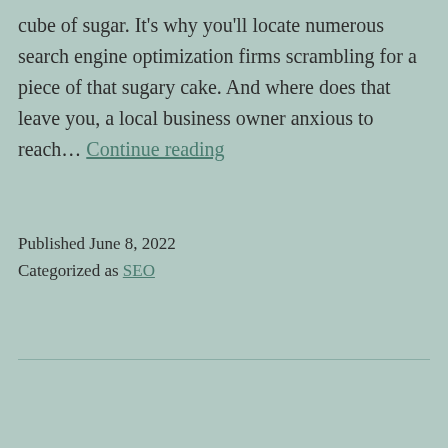cube of sugar. It's why you'll locate numerous search engine optimization firms scrambling for a piece of that sugary cake. And where does that leave you, a local business owner anxious to reach… Continue reading
Published June 8, 2022
Categorized as SEO